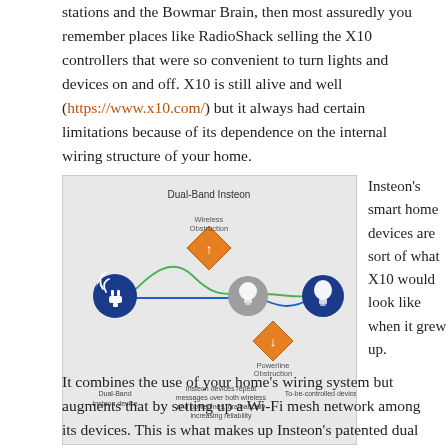stations and the Bowmar Brain, then most assuredly you remember places like RadioShack selling the X10 controllers that were so convenient to turn lights and devices on and off. X10 is still alive and well (https://www.x10.com/) but it always had certain limitations because of its dependence on the internal wiring structure of your home.
[Figure (infographic): Dual-Band Insteon diagram showing a blue plug device on the left connected via a green wavy line and a blue straight line to a grey lightbulb icon in the center, then a green line to a blue lightbulb on the right. An orange diamond with an arrow icon labeled 'Wireless Obstruction' sits above the connection. Another orange diamond labeled 'Powerline Obstruction' sits below. Labels: 'Dual-Band Insteon device', 'Insteon devices repeat messages over both wireless and powerlines, dramatically increasing reliability', 'To-be-controlled device'.]
Insteon's smart home devices are sort of what X10 would look like when it grew up.
It combines the use of your home's wiring system but augments that by setting up a Wi-Fi mesh network among its devices. This is what makes up Insteon's patented dual band